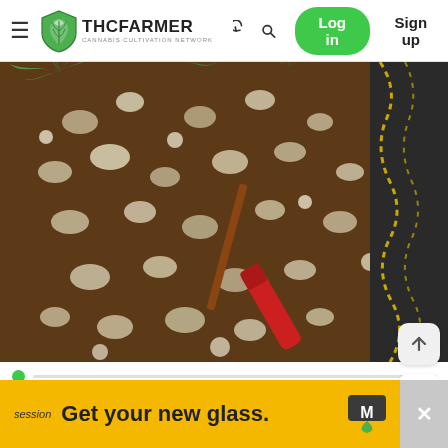THCFarmer Cannabis Cultivation Network — Log in / Sign up
[Figure (photo): Close-up top-down view of a cannabis plant in a fabric pot with soil and perlite mix, with green leaves visible at top and a red tool/marker in the center-bottom area; pot has yellow stitching on side.]
[Figure (photo): Small circular avatar thumbnail of a cannabis bud/nug, dark background.]
session   Get your new glass.